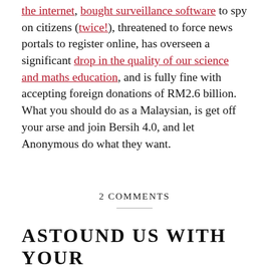the internet, bought surveillance software to spy on citizens (twice!), threatened to force news portals to register online, has overseen a significant drop in the quality of our science and maths education, and is fully fine with accepting foreign donations of RM2.6 billion. What you should do as a Malaysian, is get off your arse and join Bersih 4.0, and let Anonymous do what they want.
2 COMMENTS
ASTOUND US WITH YOUR